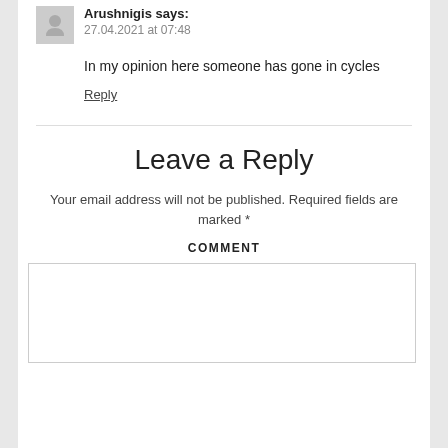Arushnigis says:
27.04.2021 at 07:48
In my opinion here someone has gone in cycles
Reply
Leave a Reply
Your email address will not be published. Required fields are marked *
COMMENT